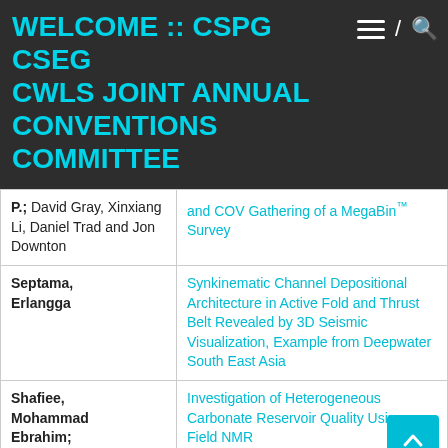WELCOME :: CSPG CSEG CWLS JOINT ANNUAL CONVENTIONS COMMITTEE
| Author | Title |
| --- | --- |
| P.; David Gray, Xinxiang Li, Daniel Trad and Jon Downton | and COV Gathering of a MegaBin™ Survey |
| Septama, Erlangga | Synkinematic Channel Depositional Architecture in Active Fold and Thrust Belt Revealed by 3D Seismic Visualization, Example from Deepwater South East Asia |
| Shafiee, Mohammad Ebrahim; Apostolos K... | Investigation of Heterogeneous Carbonate Reservoir Quality Using ... Field NMR |